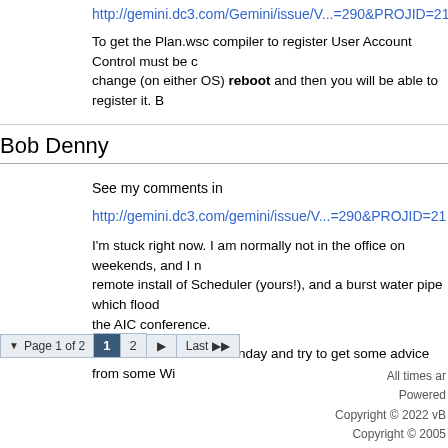http://gemini.dc3.com/Gemini/issue/V...=290&PROJID=21
To get the Plan.wsc compiler to register User Account Control must be c... change (on either OS) reboot and then you will be able to register it. B...
Bob Denny
See my comments in
http://gemini.dc3.com/gemini/issue/V...=290&PROJID=21
I'm stuck right now. I am normally not in the office on weekends, and I m... remote install of Scheduler (yours!), and a burst water pipe which floode... the AIC conference.
I'll look back into this Monday and try to get some advice from some Wi...
Page 1 of 2  1  2  ▶  Last ▶▶
All times ar...
Powered...
Copyright © 2022 vB...
Copyright © 2005